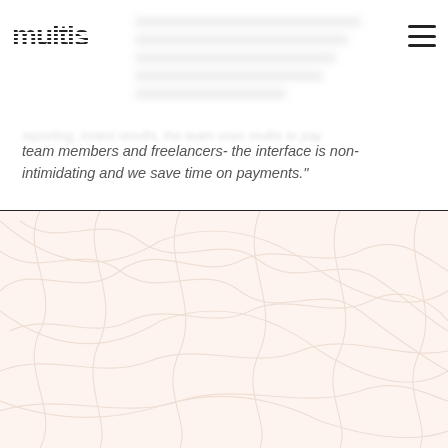[Figure (logo): Multis logo — striped/lined 'm' letterform wordmark in dark color]
team members and freelancers- the interface is non-intimidating and we save time on payments."
[Figure (illustration): Decorative background section with warm cream/peach color and faint swirling line pattern]